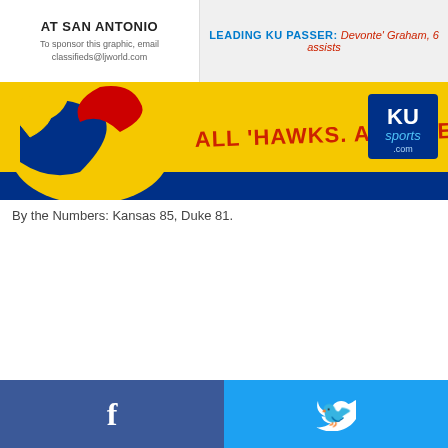AT SAN ANTONIO
To sponsor this graphic, email classifieds@ljworld.com
LEADING KU PASSER: Devonte' Graham, 6 assists
[Figure (illustration): KU Sports banner with Jayhawk mascot on yellow/blue background. Text reads: ALL 'HAWKS. ALL THE TIME. KU sports .com]
By the Numbers: Kansas 85, Duke 81.
[Figure (other): Facebook and Twitter social share buttons at bottom of page]